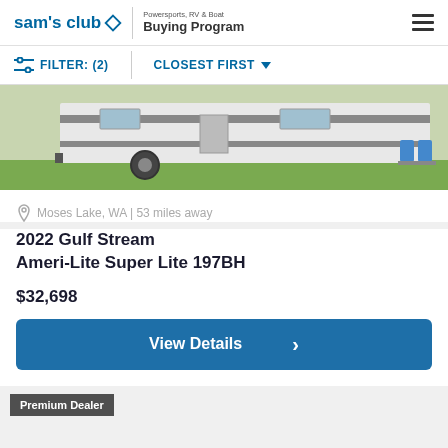sam's club | Powersports, RV & Boat Buying Program
FILTER: (2)  CLOSEST FIRST
[Figure (photo): RV trailer parked on grass, side view, white and grey striped exterior]
Moses Lake, WA | 53 miles away
2022 Gulf Stream Ameri-Lite Super Lite 197BH
$32,698
View Details
Premium Dealer